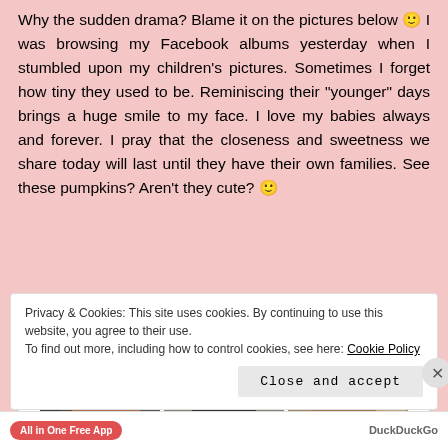Why the sudden drama? Blame it on the pictures below 🙂 I was browsing my Facebook albums yesterday when I stumbled upon my children's pictures. Sometimes I forget how tiny they used to be. Reminiscing their "younger" days brings a huge smile to my face. I love my babies always and forever. I pray that the closeness and sweetness we share today will last until they have their own families. See these pumpkins? Aren't they cute? 🙂
[Figure (photo): Three photos in a row of a young girl with a pink headband, shown in different poses and expressions]
Privacy & Cookies: This site uses cookies. By continuing to use this website, you agree to their use.
To find out more, including how to control cookies, see here: Cookie Policy
Close and accept
All in One Free App   DuckDuckGo